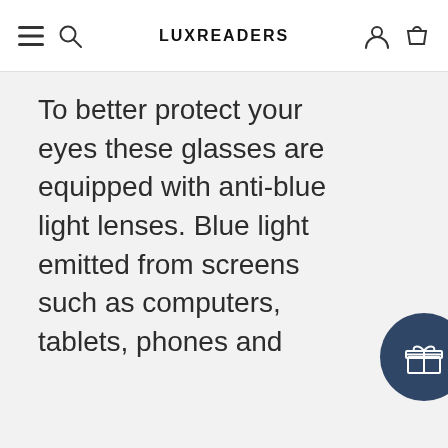LUXREADERS
To better protect your eyes these glasses are equipped with anti-blue light lenses. Blue light emitted from screens such as computers, tablets, phones and